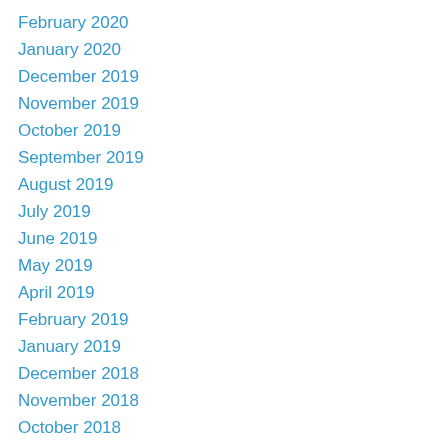February 2020
January 2020
December 2019
November 2019
October 2019
September 2019
August 2019
July 2019
June 2019
May 2019
April 2019
February 2019
January 2019
December 2018
November 2018
October 2018
September 2018
August 2018
July 2018
June 2018